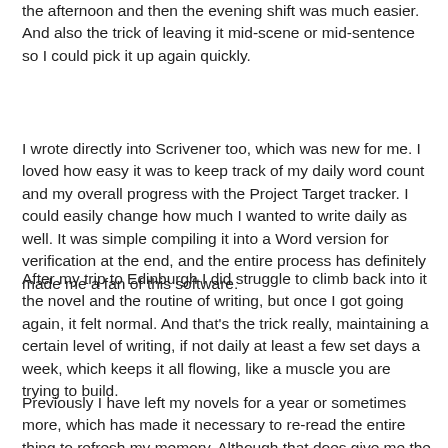the afternoon and then the evening shift was much easier. And also the trick of leaving it mid-scene or mid-sentence so I could pick it up again quickly.
I wrote directly into Scrivener too, which was new for me. I loved how easy it was to keep track of my daily word count and my overall progress with the Project Target tracker. I could easily change how much I wanted to write daily as well. It was simple compiling it into a Word version for verification at the end, and the entire process has definitely made me a fan of this software.
After my trip to Edinburgh I did struggle to climb back into it the novel and the routine of writing, but once I got going again, it felt normal. And that's the trick really, maintaining a certain level of writing, if not daily at least a few set days a week, which keeps it all flowing, like a muscle you are trying to build.
Previously I have left my novels for a year or sometimes more, which has made it necessary to re-read the entire thing to refresh my memory. Although that does give me the